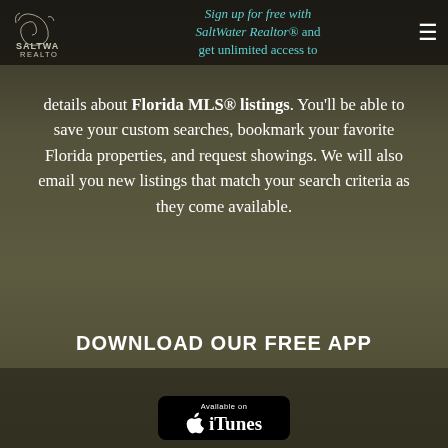Sign up for free with SaltWater Realtor® and get unlimited access to
[Figure (logo): Saltwater Realtor logo with decorative swirl and text]
details about Florida MLS® listings. You'll be able to save your custom searches, bookmark your favorite Florida properties, and request showings. We will also email you new listings that match your search criteria as they come available.
DOWNLOAD OUR FREE APP
[Figure (screenshot): App Store / iTunes badge with apple logo - Available on iTunes]